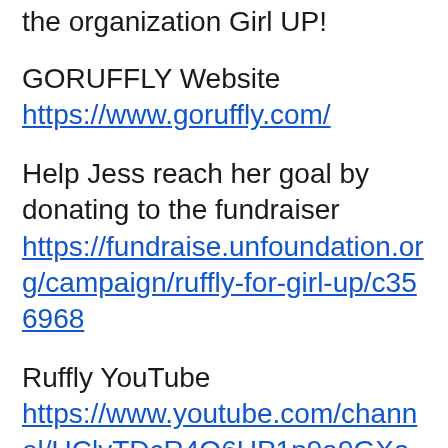the organization Girl UP!
GORUFFLY Website
https://www.goruffly.com/
Help Jess reach her goal by donating to the fundraiser
https://fundraise.unfoundation.org/campaign/ruffly-for-girl-up/c356968
Ruffly YouTube
https://www.youtube.com/channel/UClvTDcR4Q6UP1p9a9GXaAvg
Visit our sponsors!
Mototomic
Mototomic has apparel for the motorcycle enthusiast designed by motorcycle